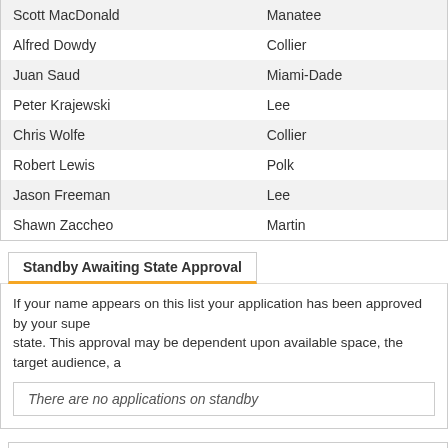| Name | County |
| --- | --- |
| Scott MacDonald | Manatee |
| Alfred Dowdy | Collier |
| Juan Saud | Miami-Dade |
| Peter Krajewski | Lee |
| Chris Wolfe | Collier |
| Robert Lewis | Polk |
| Jason Freeman | Lee |
| Shawn Zaccheo | Martin |
Standby Awaiting State Approval
If your name appears on this list your application has been approved by your supervisor and is awaiting approval from the state. This approval may be dependent upon available space, the target audience, a
There are no applications on standby
Pending Supervisor or Emergency Management Program Approval
If your name appears on this list your application is awaiting approval (for state management program.
There are no applications pending Supervisor / Emergency Management P